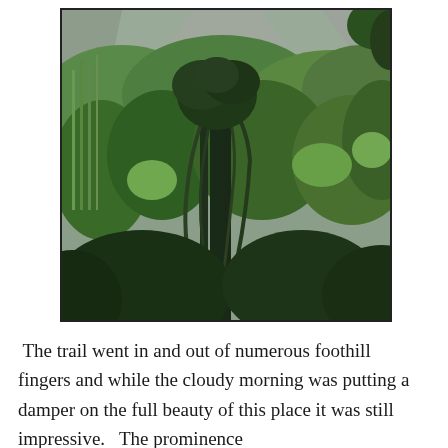[Figure (photo): Photograph of a dense tropical/subtropical forest scene with lush green trees and vines in the foreground, rocky mountain cliffs visible in the misty background. The vegetation is thick and verdant, with a prominent dark tree covered in vines at center.]
The trail went in and out of numerous foothill fingers and while the cloudy morning was putting a damper on the full beauty of this place it was still impressive.   The prominence